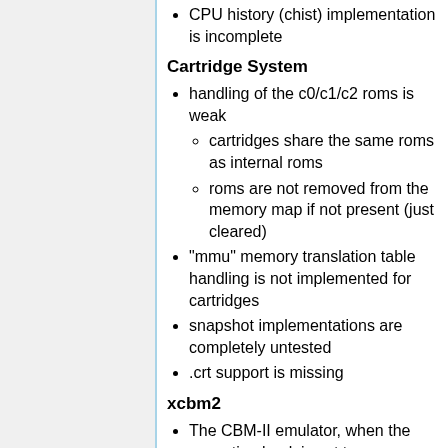CPU history (chist) implementation is incomplete
Cartridge System
handling of the c0/c1/c2 roms is weak
cartridges share the same roms as internal roms
roms are not removed from the memory map if not present (just cleared)
"mmu" memory translation table handling is not implemented for cartridges
snapshot implementations are completely untested
.crt support is missing
xcbm2
The CBM-II emulator, when the execution bank is set to an open